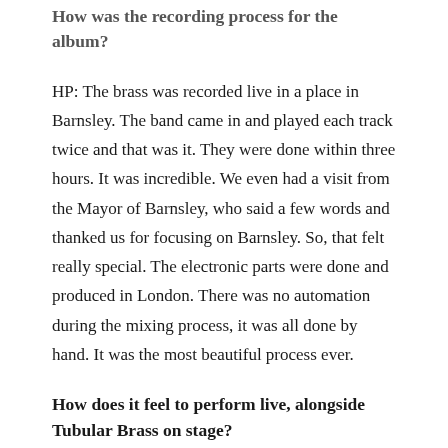How was the recording process for the album?
HP: The brass was recorded live in a place in Barnsley. The band came in and played each track twice and that was it. They were done within three hours. It was incredible. We even had a visit from the Mayor of Barnsley, who said a few words and thanked us for focusing on Barnsley. So, that felt really special. The electronic parts were done and produced in London. There was no automation during the mixing process, it was all done by hand. It was the most beautiful process ever.
How does it feel to perform live, alongside Tubular Brass on stage?
HP: You saw the very first performance of Mary Casio in Manchester. Tubular Brass are the most incredible musicians. It comprises the top players from all of the top championship bands, so the things I imagined and dreamed, they can play. If I want